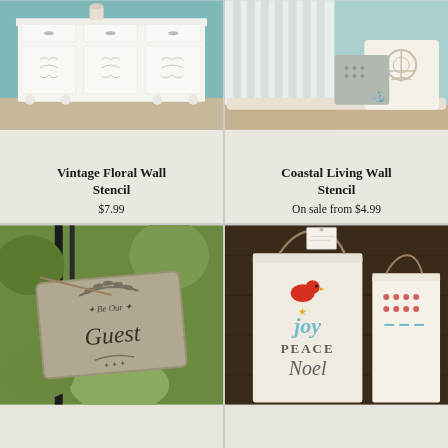[Figure (photo): White vintage sideboard/console with floral stencil design on cabinet doors, shown against a teal/blue wall]
Vintage Floral Wall Stencil
$7.99
[Figure (photo): Coastal themed pillows with anchor and ship wheel designs, in a window seat setting with blue-grey tones]
Coastal Living Wall Stencil
On sale from $4.99
[Figure (photo): Stone or concrete sign hanging on a black metal fence post reading 'Be Our Guest' with decorative wreath and flourishes, outdoor garden setting]
[Figure (photo): Gift bags on dark wood table with holiday stencil designs reading 'joy Peace Noel' with a red bird and stars, Christmas themed]